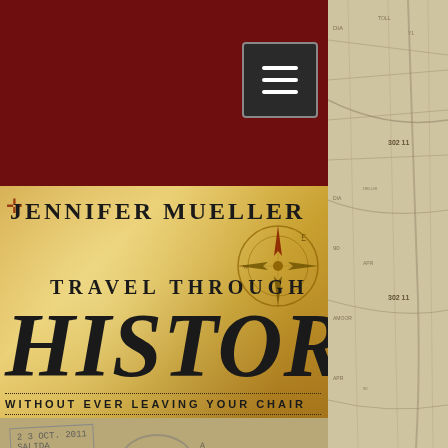[Figure (screenshot): Website screenshot of Jennifer Mueller Travel Through History blog. Dark red top navigation bar with hamburger menu icon. Banner image with vintage map/parchment background showing compass rose, author name 'Jennifer Mueller', 'Travel Through', 'HISTORY', and subtitle 'WITHOUT EVER LEAVING YOUR CHAIR'. Passport stamps area below banner. Gray navigation bar with 'Post', search icon, and 'Sign Up'. Blog post area with light blue background showing author avatar (Jennifer Mueller with admin crown icon), date 'May 5, 2016 · 2 min', three-dot menu, and partial post title 'Havana Holiday'.]
Jennifer Mueller · Travel Through History
Jennifer Mueller May 5, 2016 · 2 min
Havana Holiday